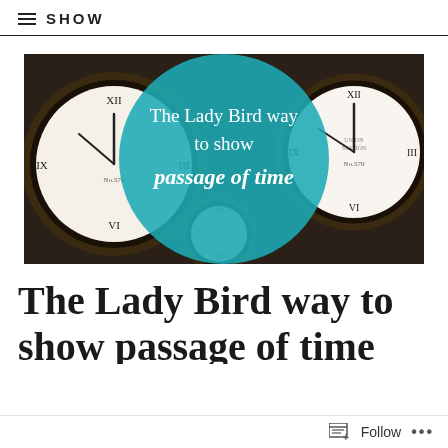SHOW
[Figure (photo): A collection of wall clocks arranged together, with a large teal/turquoise circular overlay in the center containing white text: 'The Lady Bird way to show passage of time']
The Lady Bird way to